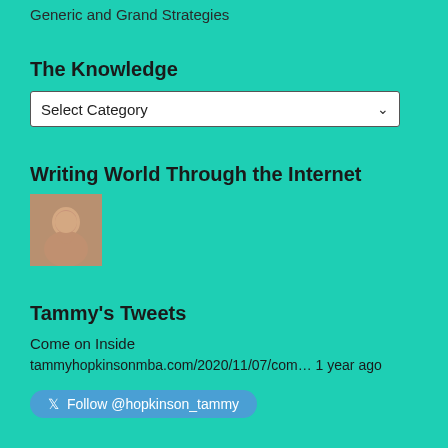Generic and Grand Strategies
The Knowledge
[Figure (screenshot): A dropdown select box with the label 'Select Category' and a dropdown arrow on the right]
Writing World Through the Internet
[Figure (photo): Small square avatar photo of a woman]
Tammy's Tweets
Come on Inside
tammyhopkinsonmba.com/2020/11/07/com… 1 year ago
Follow @hopkinson_tammy